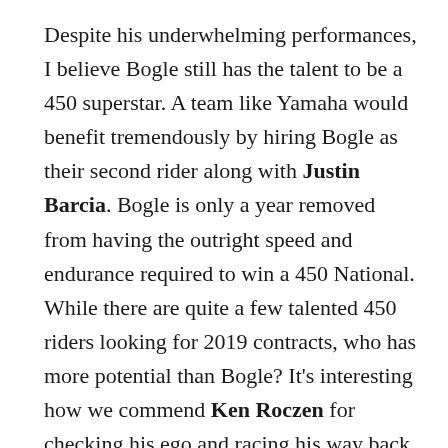Despite his underwhelming performances, I believe Bogle still has the talent to be a 450 superstar. A team like Yamaha would benefit tremendously by hiring Bogle as their second rider along with Justin Barcia. Bogle is only a year removed from having the outright speed and endurance required to win a 450 National. While there are quite a few talented 450 riders looking for 2019 contracts, who has more potential than Bogle? It's interesting how we commend Ken Roczen for checking his ego and racing his way back to form, yet Justin Bogle is vilified for similar performances. I concede, announcing he was not coming back until he had podium speed was a bad choice of words, but if given an entire offseason, I fully believe he will have a